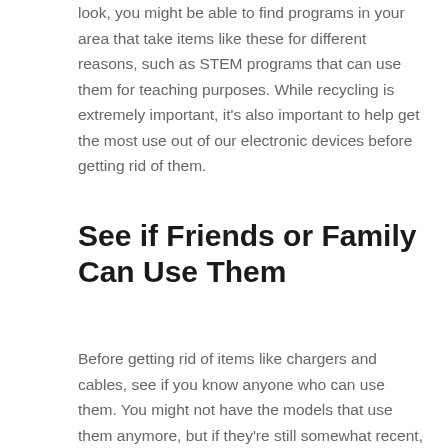look, you might be able to find programs in your area that take items like these for different reasons, such as STEM programs that can use them for teaching purposes. While recycling is extremely important, it's also important to help get the most use out of our electronic devices before getting rid of them.
See if Friends or Family Can Use Them
Before getting rid of items like chargers and cables, see if you know anyone who can use them. You might not have the models that use them anymore, but if they're still somewhat recent, you might know someone who can use them. Many of us tend to break or lose our cables, so having extras lying around can be useful, as long as you know they're going to get used. If these